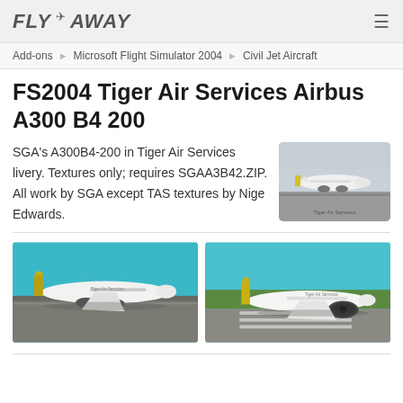FLY AWAY
Add-ons / Microsoft Flight Simulator 2004 / Civil Jet Aircraft
FS2004 Tiger Air Services Airbus A300 B4 200
SGA's A300B4-200 in Tiger Air Services livery. Textures only; requires SGAA3B42.ZIP. All work by SGA except TAS textures by Nige Edwards.
[Figure (photo): Small thumbnail of Tiger Air Services Airbus A300 B4 200 on runway, aerial view]
[Figure (photo): Screenshot of Tiger Air Services Airbus A300 on runway, left side view]
[Figure (photo): Screenshot of Tiger Air Services Airbus A300 on runway, right side close-up view]